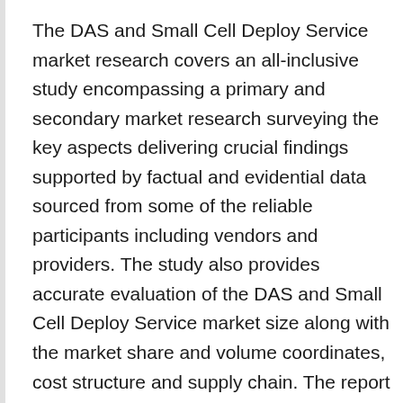The DAS and Small Cell Deploy Service market research covers an all-inclusive study encompassing a primary and secondary market research surveying the key aspects delivering crucial findings supported by factual and evidential data sourced from some of the reliable participants including vendors and providers. The study also provides accurate evaluation of the DAS and Small Cell Deploy Service market size along with the market share and volume coordinates, cost structure and supply chain. The report incorporates conclusive assessment delivering reliable market estimates and metrics represented graphically through the future forecast determination. The DAS and Small Cell Deploy